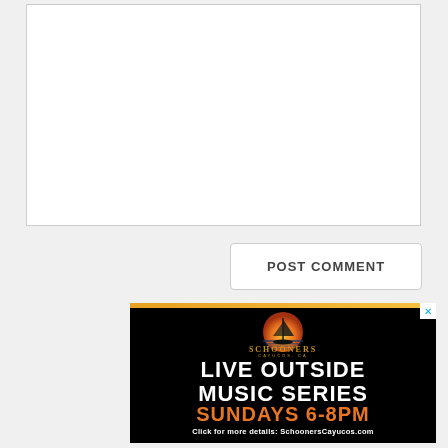[Figure (screenshot): Empty comment text input box with white background and light gray border]
[Figure (screenshot): POST COMMENT button with white background, rounded corners, gray border, bold dark gray uppercase text]
[Figure (illustration): Advertisement for Schooners Cayucos, CA. Black background with orange top bar. Logo shows a sailboat silhouette against a sunset circle. Text reads SCHOONERS CAYUCOS, CA in gold, LIVE OUTSIDE MUSIC SERIES in white bold, SUNDAYS 6-8PM in orange bold, Click for more details: SchoonersCayucos.com in white small text. Close X button top right.]